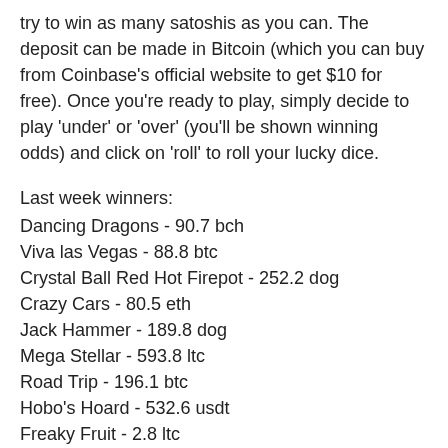try to win as many satoshis as you can. The deposit can be made in Bitcoin (which you can buy from Coinbase's official website to get $10 for free). Once you're ready to play, simply decide to play 'under' or 'over' (you'll be shown winning odds) and click on 'roll' to roll your lucky dice.
Last week winners:
Dancing Dragons - 90.7 bch
Viva las Vegas - 88.8 btc
Crystal Ball Red Hot Firepot - 252.2 dog
Crazy Cars - 80.5 eth
Jack Hammer - 189.8 dog
Mega Stellar - 593.8 ltc
Road Trip - 196.1 btc
Hobo's Hoard - 532.6 usdt
Freaky Fruit - 2.8 ltc
English Rose - 232.6 bch
Gladiator Jackpot - 469.9 ltc
Super Duper Cherry - 441.4 dog